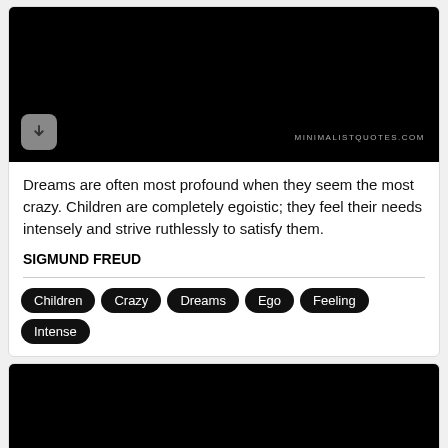[Figure (photo): Black image panel with a download button (grey rounded square with down arrow) on the lower left and 'MINIMALISTQUOTES.COM' watermark on the lower right]
Dreams are often most profound when they seem the most crazy. Children are completely egoistic; they feel their needs intensely and strive ruthlessly to satisfy them.
SIGMUND FREUD
Children
Crazy
Dreams
Ego
Feeling
Intense
[Figure (photo): Black image panel (second card, partially visible at bottom of page)]